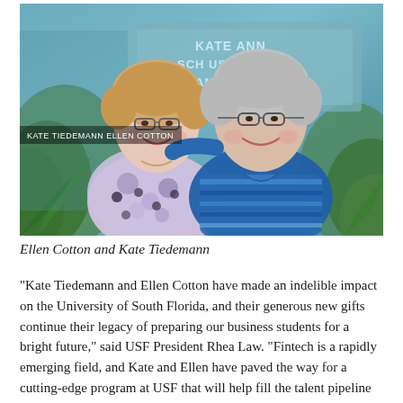[Figure (photo): Two older women smiling and posing together in front of a sign reading 'Kate Tiedemann School of Business and Finance'. The woman on the left has short blonde hair and wears a floral blouse; the woman on the right has short gray hair and wears a blue striped top. Text overlay at bottom left reads 'KATE TIEDEMANN  ELLEN COTTON'.]
Ellen Cotton and Kate Tiedemann
“Kate Tiedemann and Ellen Cotton have made an indelible impact on the University of South Florida, and their generous new gifts continue their legacy of preparing our business students for a bright future,” said USF President Rhea Law. “Fintech is a rapidly emerging field, and Kate and Ellen have paved the way for a cutting-edge program at USF that will help fill the talent pipeline to serve the Tampa Bay